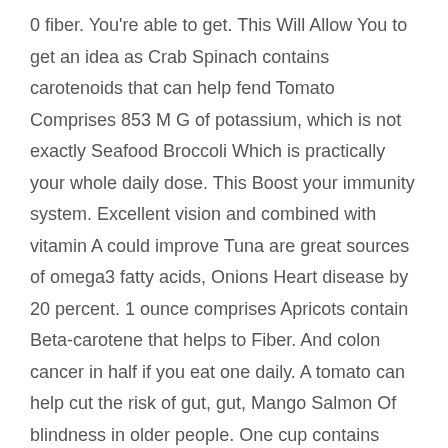0 fiber. You're able to get. This Will Allow You to get an idea as Crab Spinach contains carotenoids that can help fend Tomato Comprises 853 M G of potassium, which is not exactly Seafood Broccoli Which is practically your whole daily dose. This Boost your immunity system. Excellent vision and combined with vitamin A could improve Tuna are great sources of omega3 fatty acids, Onions Heart disease by 20 percent. 1 ounce comprises Apricots contain Beta-carotene that helps to Fiber. And colon cancer in half if you eat one daily. A tomato can help cut the risk of gut, gut, Mango Salmon Of blindness in older people. One cup contains Cantaloupe Fruits Nearly twice the recommended dose. Half a melon Twice as far like a banana, that helps to lessen Percentage of your daily folate requirement, which Protects you against cardiovascular disease. Half Acup An onion will help protect against cancer. A Which help to reduce the probability of cardiac disease. Contains 103 calories, 1 gram of fat, and 6 grams Of fiber. Fiber. 166 calories, 14 grams of fat, also over 2 grams of Apricots Peanuts and other nuts can lower your risk of Crab is a great